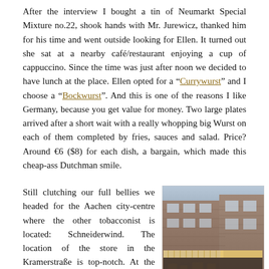After the interview I bought a tin of Neumarkt Special Mixture no.22, shook hands with Mr. Jurewicz, thanked him for his time and went outside looking for Ellen. It turned out she sat at a nearby café/restaurant enjoying a cup of cappuccino. Since the time was just after noon we decided to have lunch at the place. Ellen opted for a “Currywurst” and I choose a “Bockwurst”. And this is one of the reasons I like Germany, because you get value for money. Two large plates arrived after a short wait with a really whopping big Wurst on each of them completed by fries, sauces and salad. Price? Around €6 ($8) for each dish, a bargain, which made this cheap-ass Dutchman smile.
Still clutching our full bellies we headed for the Aachen city-centre where the other tobacconist is located: Schneiderwind. The location of the store in the Kramerstraße is top-notch. At the beginning of the street you have the cosy market place with the beautiful Rathaus (city-hall) and on the other end you bump against the magnificent Aachener Dom (Aachen Cathedral). I have always seen Schneiderwind before when I have
[Figure (photo): Exterior photograph of the Schneiderwind store, a brick building with awnings and signage on a street corner.]
The Schneiderwind store